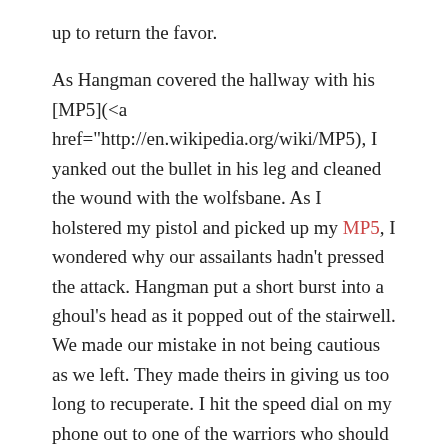up to return the favor.

As Hangman covered the hallway with his [MP5](<a href="http://en.wikipedia.org/wiki/MP5), I yanked out the bullet in his leg and cleaned the wound with the wolfsbane. As I holstered my pistol and picked up my MP5, I wondered why our assailants hadn't pressed the attack. Hangman put a short burst into a ghoul's head as it popped out of the stairwell. We made our mistake in not being cautious as we left. They made theirs in giving us too long to recuperate. I hit the speed dial on my phone out to one of the warriors who should be sitting outside. I was pissed they didn't call Hangman or me to let us know ghouls were entering the house, but I needed to know what they saw. I would figure out what went through their heads later.